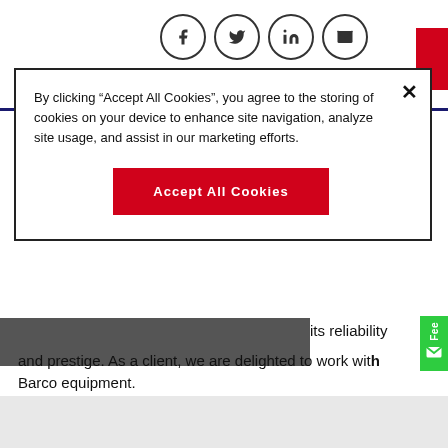[Figure (screenshot): Top social sharing bar with Facebook, Twitter, LinkedIn, Email icons and a red Subscribe button]
By clicking "Accept All Cookies", you agree to the storing of cookies on your device to enhance site navigation, analyze site usage, and assist in our marketing efforts.
Accept All Cookies
its reliability and prestige. As a client, we are delighted to work with Barco equipment.
Javier Gonzalez García, General Coordinator at SCP
[Figure (screenshot): Bottom social sharing icons: Facebook, Twitter, LinkedIn, Email]